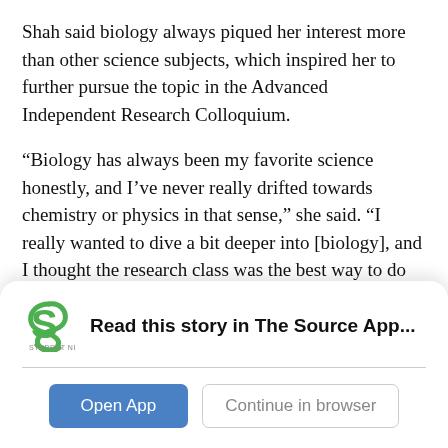Shah said biology always piqued her interest more than other science subjects, which inspired her to further pursue the topic in the Advanced Independent Research Colloquium.
“Biology has always been my favorite science honestly, and I’ve never really drifted towards chemistry or physics in that sense,” she said. “I really wanted to dive a bit deeper into [biology], and I thought the research class was the best way to do that for me.”
Furthermore, Shah said her fascination with biology
[Figure (logo): Student News Source logo - green swirl S icon with text STUDENT NEWS SOURCE below]
Read this story in The Source App...
Open App
Continue in browser